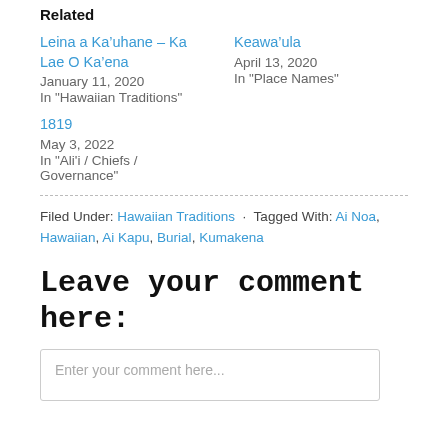Related
Leina a Ka’uhane – Ka Lae O Ka’ena
January 11, 2020
In "Hawaiian Traditions"
Keawa’ula
April 13, 2020
In "Place Names"
1819
May 3, 2022
In "Ali'i / Chiefs / Governance"
Filed Under: Hawaiian Traditions · Tagged With: Ai Noa, Hawaiian, Ai Kapu, Burial, Kumakena
Leave your comment here:
Enter your comment here...